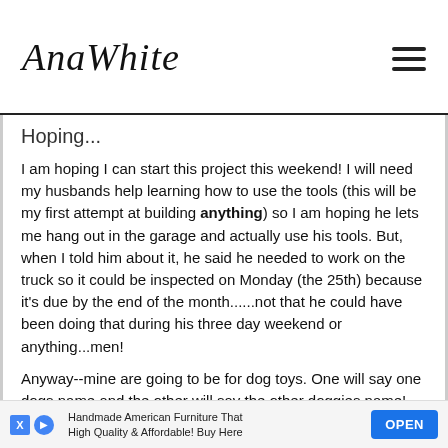AnaWhite
Hoping...
I am hoping I can start this project this weekend!  I will need my husbands help learning how to use the tools (this will be my first attempt at building anything) so I am hoping he lets me hang out in the garage and actually use his tools.  But, when I told him about it, he said he needed to work on the truck so it could be inspected on Monday (the 25th) because it's due by the end of the month......not that he could have been doing that during his three day weekend or anything...men!
Anyway--mine are going to be for dog toys.  One will say one dogs name and the other will say the other doggies name!  And, I would like to paint mine to ma... using...
[Figure (other): Advertisement bar: Handmade American Furniture That High Quality & Affordable! Buy Here — OPEN button]